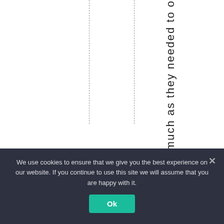s m u c h a s t h e y n e e d t o o
We use cookies to ensure that we give you the best experience on our website. If you continue to use this site we will assume that you are happy with it.